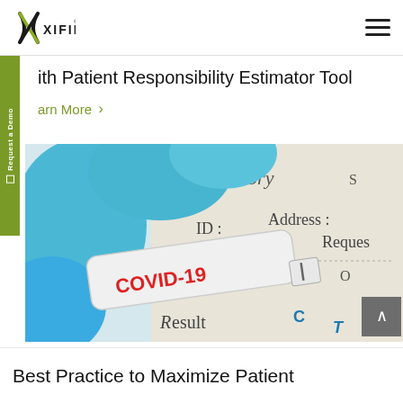[Figure (logo): XIFIN logo with stylized X in black and green, followed by XIFIN text]
ith Patient Responsibility Estimator Tool
arn More ›
[Figure (photo): Close-up photo of gloved hands holding a COVID-19 rapid antigen test device with red COVID-19 text, next to a laboratory form showing fields for ID, Address, Request, Result, C and T lines]
Best Practice to Maximize Patient